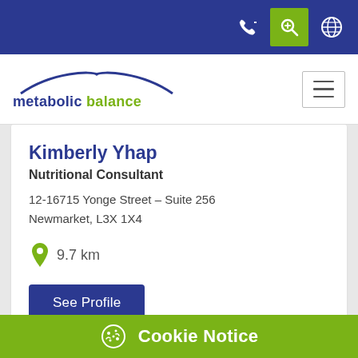metabolic balance — navigation header with phone, search, and globe icons
[Figure (logo): Metabolic balance logo with blue arc and text: metabolic balance]
Kimberly Yhap
Nutritional Consultant
12-16715 Yonge Street - Suite 256
Newmarket, L3X 1X4
9.7 km
See Profile
Cookie Notice